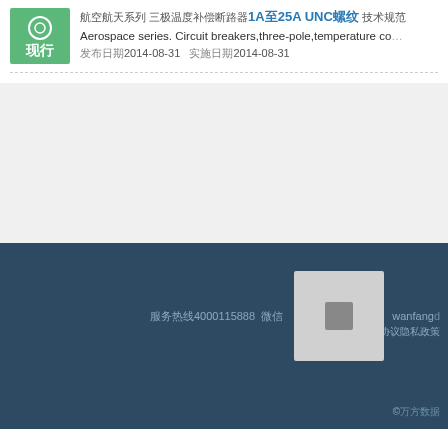航空航天系列 三极温度补偿断路器1A至25A UNC螺纹 技术规范
Aerospace series. Circuit breakers,three-pole,temperature co...
发布日期2014-08-31  实施日期2014-08-31
服务热线4000115888  微信   wanfang...
©万方数据